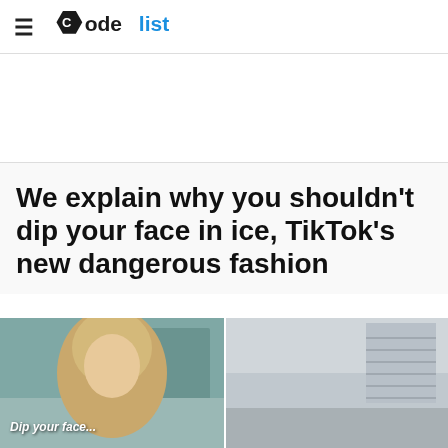CodeList
We explain why you shouldn't dip your face in ice, TikTok's new dangerous fashion
[Figure (photo): Two side-by-side photos related to TikTok face-dipping trend. Left image shows a person with blonde hair, captioned 'Dip your face...'. Right image shows an indoor scene.]